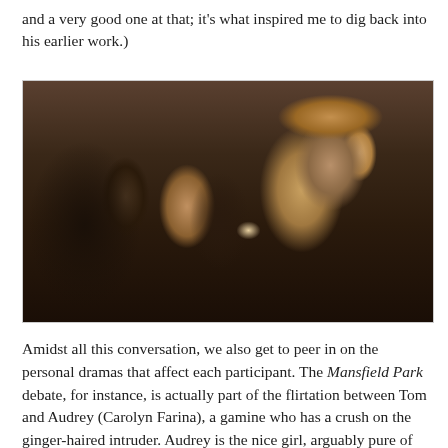and a very good one at that; it's what inspired me to dig back into his earlier work.)
[Figure (photo): A film still showing a social gathering or party scene with multiple people in formal attire. A man in a dark suit/tuxedo with reddish-brown hair is visible on the right side, and a woman with dark hair is visible in the center-left, with other party guests in the background in a dimly lit room.]
Amidst all this conversation, we also get to peer in on the personal dramas that affect each participant. The Mansfield Park debate, for instance, is actually part of the flirtation between Tom and Audrey (Carolyn Farina), a gamine who has a crush on the ginger-haired intruder. Audrey is the nice girl, arguably pure of heart, and Tom's treatment of her gives